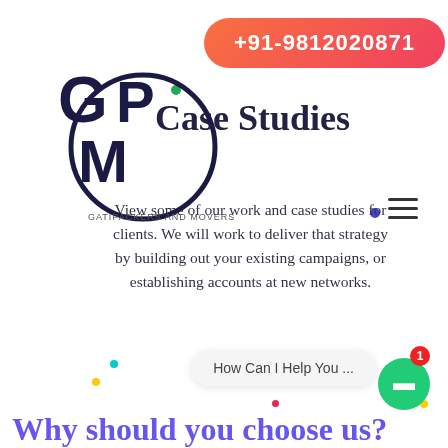+91-9812020871
[Figure (logo): GPM Gati Packers and Movers logo in dark navy blue circular design]
Our Case Studies
View some of our work and case studies for clients. We will work to deliver that strategy by building out your existing campaigns, or establishing accounts at new networks.
How Can I Help You ...
Why should you choose us?